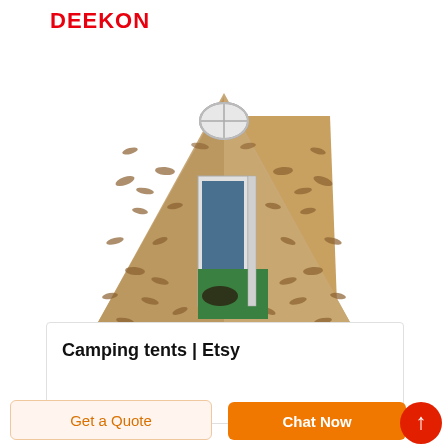DEEKON
[Figure (photo): A large camouflage-patterned inflatable military-style camping tent with a tan/brown color with dark brown markings, featuring an open doorway revealing a green floor mat and blue interior wall, with a small window at the peak of the tent.]
Camping tents | Etsy
Get a Quote
Chat Now